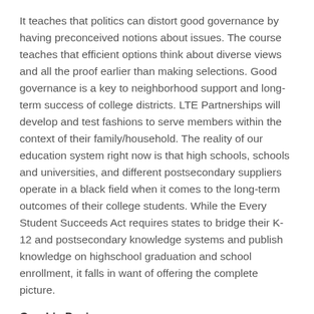It teaches that politics can distort good governance by having preconceived notions about issues. The course teaches that efficient options think about diverse views and all the proof earlier than making selections. Good governance is a key to neighborhood support and long-term success of college districts. LTE Partnerships will develop and test fashions to serve members within the context of their family/household. The reality of our education system right now is that high schools, schools and universities, and different postsecondary suppliers operate in a black field when it comes to the long-term outcomes of their college students. While the Every Student Succeeds Act requires states to bridge their K-12 and postsecondary knowledge systems and publish knowledge on highschool graduation and school enrollment, it falls in want of offering the complete picture.
Graphic Design
Without knowledge on student outcomes at the school